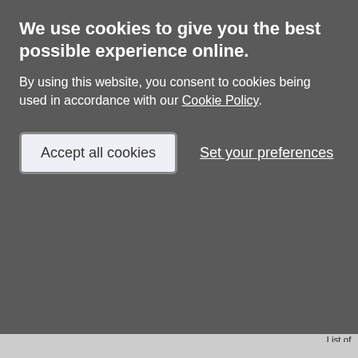We use cookies to give you the best possible experience online.
By using this website, you consent to cookies being used in accordance with our Cookie Policy.
Accept all cookies | Set your preferences
| ID | Description |
| --- | --- |
| SDV200238 | List of Blds of Part of Historic Interest. Register. A4 Bound. 31. |
| SDV325629 | Monograph: Cherry, B. + Pevsner, N. England: Devon. Hardback Volume. 6 |
| SDV325644 | Cartographic: Ordnance Survey. 1904. Second Edition Ordnance Survey 25 |
| SDV336175 | Article in Serial: Breihan, J. R.. 1990. Napoleonic Wars. Transactions of the |
| SDV336179 | Cartographic: Ordnance Survey. 1880. Ordnance Survey 25 inch Map. Map n |
| SDV336217 | Monograph: Pevsner, N.. 1952. The B South Devon. Paperback Volume. 24 |
| SDV342938 | Aerial Photograph: Royal Air Force. 1 Force Aerial Photograph. Photograph. |
| SDV349431 | Cartographic: Devon County Council. Tithe Map. Digital. |
| SDV352031 | Report - Survey: Laing-Trengove, D. Results of Historic Building Recording |